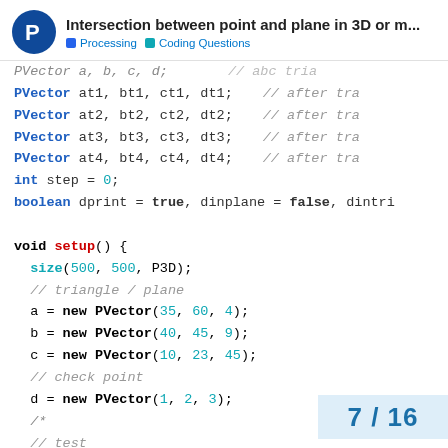Intersection between point and plane in 3D or m...
Processing | Coding Questions
PVector a, b, c, d;  // abc tria
PVector at1, bt1, ct1, dt1;  // after tra
PVector at2, bt2, ct2, dt2;  // after tra
PVector at3, bt3, ct3, dt3;  // after tra
PVector at4, bt4, ct4, dt4;  // after tra
int step = 0;
boolean dprint = true, dinplane = false, dintri

void setup() {
  size(500, 500, P3D);
  // triangle / plane
  a = new PVector(35, 60, 4);
  b = new PVector(40, 45, 9);
  c = new PVector(10, 23, 45);
  // check point
  d = new PVector(1, 2, 3);
  /*
  // test
  a = new PVector(35, 60, 0);
  b = new PVector(40, 30, 0);
7 / 16